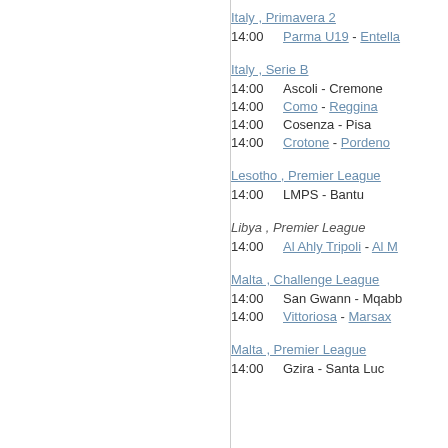Italy , Primavera 2
14:00   Parma U19 - Entella
Italy , Serie B
14:00   Ascoli - Cremone
14:00   Como - Reggina
14:00   Cosenza - Pisa
14:00   Crotone - Pordeno
Lesotho , Premier League
14:00   LMPS - Bantu
Libya , Premier League
14:00   Al Ahly Tripoli - Al M
Malta , Challenge League
14:00   San Gwann - Mqabb
14:00   Vittoriosa - Marsax
Malta , Premier League
14:00   Gzira - Santa Luc